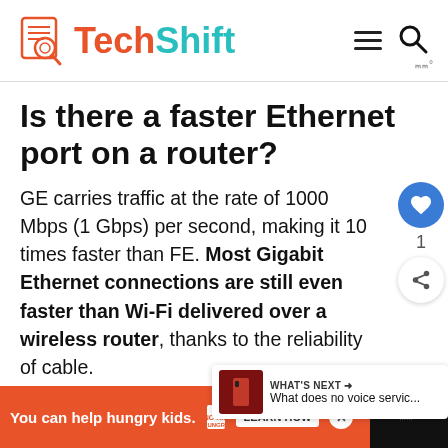TechShift
Is there a faster Ethernet port on a router?
GE carries traffic at the rate of 1000 Mbps (1 Gbps) per second, making it 10 times faster than FE. Most Gigabit Ethernet connections are still even faster than Wi-Fi delivered over a wireless router, thanks to the reliability of cable.
You can help hungry kids. NO KID HUNGRY LEARN HOW